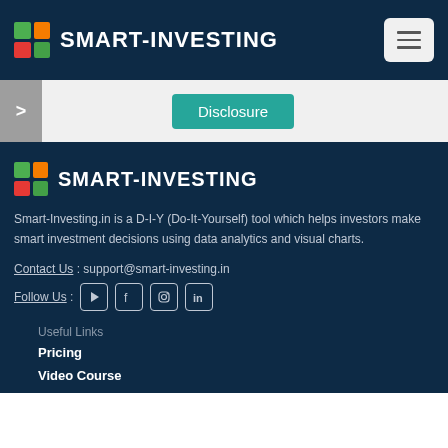SMART-INVESTING
Disclosure
[Figure (logo): Smart-Investing logo with colored grid squares and text in footer]
Smart-Investing.in is a D-I-Y (Do-It-Yourself) tool which helps investors make smart investment decisions using data analytics and visual charts.
Contact Us : support@smart-investing.in
Follow Us : [YouTube] [Facebook] [Instagram] [LinkedIn]
Useful Links
Pricing
Video Course